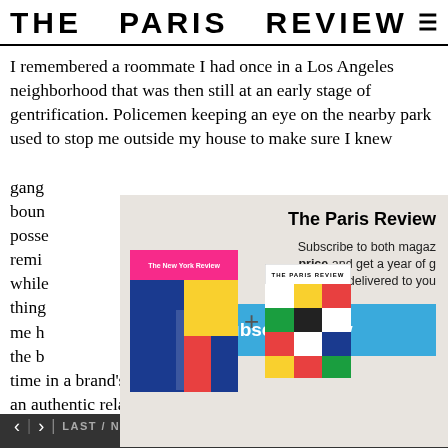THE PARIS REVIEW
I remembered a roommate I had once in a Los Angeles neighborhood that was then still at an early stage of gentrification. Policemen keeping an eye on the nearby park used to stop me outside my house to make sure I knew gang boundaries, what colors I was allowed to possess. My roommate reminded me of that while talking about things like that helped me hear the brand's history, something that communicated an authentic relationship to luxury goods, ergo
[Figure (screenshot): Subscription popup showing The New York Review and The Paris Review magazine covers with a plus sign between them, titled 'The Paris Review' with text 'Subscribe to both magazines at a special price and get a year of great fiction and criticism delivered to your door' and a blue 'Subscribe Now' button]
< > LAST / NEXT ARTICLE   SHARE